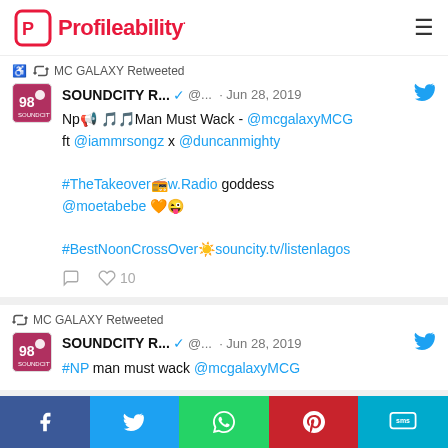Profileability
MC GALAXY Retweeted
SOUNDCITY R... @ ... · Jun 28, 2019
Np 📢 🎵🎵Man Must Wack - @mcgalaxyMCG ft @iammrsongz x @duncanmighty

#TheTakeover📻w.Radio goddess @moetabebe 🧡😜

#BestNoonCrossOver☀souncity.tv/listenlagos
10 likes
MC GALAXY Retweeted
SOUNDCITY R... @ ... · Jun 28, 2019
#NP man must wack @mcgalaxyMCG